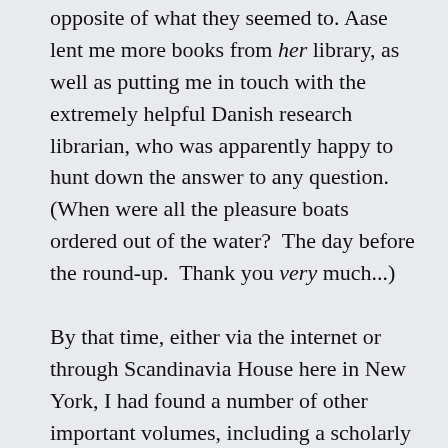opposite of what they seemed to. Aase lent me more books from her library, as well as putting me in touch with the extremely helpful Danish research librarian, who was apparently happy to hunt down the answer to any question. (When were all the pleasure boats ordered out of the water?  The day before the round-up.  Thank you very much...)

By that time, either via the internet or through Scandinavia House here in New York, I had found a number of other important volumes, including a scholarly book called The Bitter Years about the